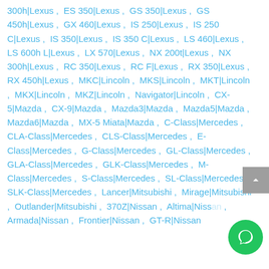300h|Lexus , ES 350|Lexus , GS 350|Lexus , GS 450h|Lexus , GX 460|Lexus , IS 250|Lexus , IS 250 C|Lexus , IS 350|Lexus , IS 350 C|Lexus , LS 460|Lexus , LS 600h L|Lexus , LX 570|Lexus , NX 200t|Lexus , NX 300h|Lexus , RC 350|Lexus , RC F|Lexus , RX 350|Lexus , RX 450h|Lexus , MKC|Lincoln , MKS|Lincoln , MKT|Lincoln , MKX|Lincoln , MKZ|Lincoln , Navigator|Lincoln , CX-5|Mazda , CX-9|Mazda , Mazda3|Mazda , Mazda5|Mazda , Mazda6|Mazda , MX-5 Miata|Mazda , C-Class|Mercedes , CLA-Class|Mercedes , CLS-Class|Mercedes , E-Class|Mercedes , G-Class|Mercedes , GL-Class|Mercedes , GLA-Class|Mercedes , GLK-Class|Mercedes , M-Class|Mercedes , S-Class|Mercedes , SL-Class|Mercedes , SLK-Class|Mercedes , Lancer|Mitsubishi , Mirage|Mitsubishi , Outlander|Mitsubishi , 370Z|Nissan , Altima|Nissan , Armada|Nissan , Frontier|Nissan , GT-R|Nissan